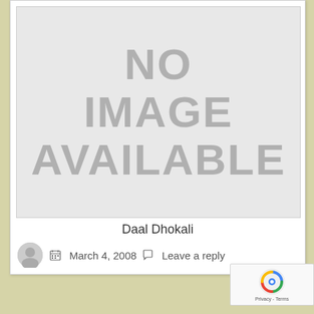[Figure (photo): No image available placeholder — grey box with bold grey text reading NO IMAGE AVAILABLE]
Daal Dhokali
March 4, 2008   Leave a reply
[Figure (logo): reCAPTCHA badge with blue/red logo and Privacy - Terms text]